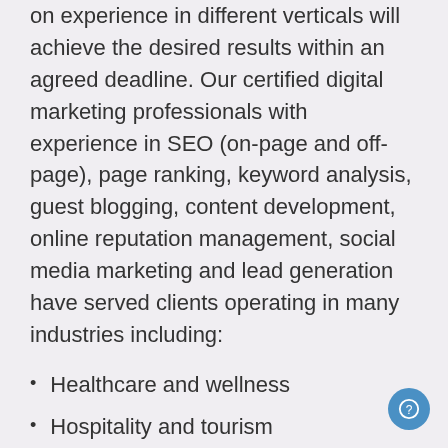on experience in different verticals will achieve the desired results within an agreed deadline. Our certified digital marketing professionals with experience in SEO (on-page and off-page), page ranking, keyword analysis, guest blogging, content development, online reputation management, social media marketing and lead generation have served clients operating in many industries including:
Healthcare and wellness
Hospitality and tourism
Legal services
Insurance, Stocks and Real-estate